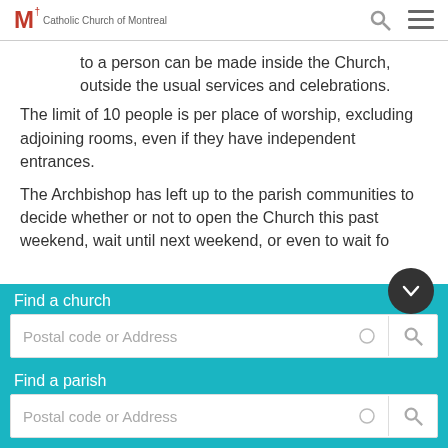Catholic Church of Montreal
to a person can be made inside the Church, outside the usual services and celebrations.
The limit of 10 people is per place of worship, excluding adjoining rooms, even if they have independent entrances.
The Archbishop has left up to the parish communities to decide whether or not to open the Church this past weekend, wait until next weekend, or even to wait fo...
Find a church
Postal code or Address
Find a parish
Postal code or Address